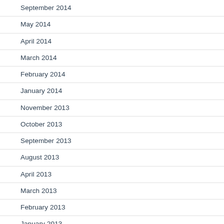September 2014
May 2014
April 2014
March 2014
February 2014
January 2014
November 2013
October 2013
September 2013
August 2013
April 2013
March 2013
February 2013
January 2013